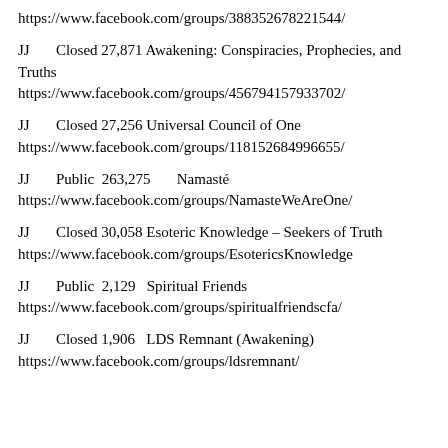https://www.facebook.com/groups/388352678221544/
JJ       Closed 27,871 Awakening: Conspiracies, Prophecies, and Truths
https://www.facebook.com/groups/456794157933702/
JJ       Closed 27,256 Universal Council of One
https://www.facebook.com/groups/118152684996655/
JJ       Public  263,275       Namasté
https://www.facebook.com/groups/NamasteWeAreOne/
JJ       Closed 30,058 Esoteric Knowledge – Seekers of Truth
https://www.facebook.com/groups/EsotericsKnowledge
JJ       Public  2,129   Spiritual Friends
https://www.facebook.com/groups/spiritualfriendscfa/
JJ       Closed 1,906   LDS Remnant (Awakening)
https://www.facebook.com/groups/ldsremnant/